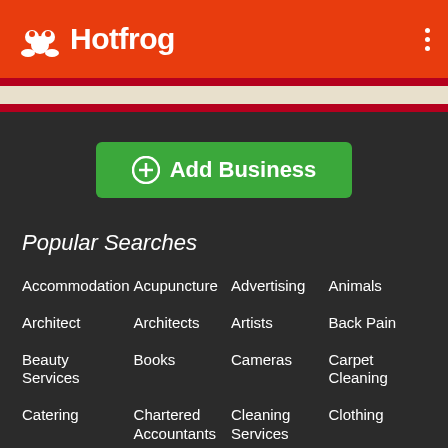Hotfrog
Add Business
Popular Searches
Accommodation
Acupuncture
Advertising
Animals
Architect
Architects
Artists
Back Pain
Beauty Services
Books
Cameras
Carpet Cleaning
Catering
Chartered Accountants
Cleaning Services
Clothing
Cookies
Cork
Digital Marketing
Exercise